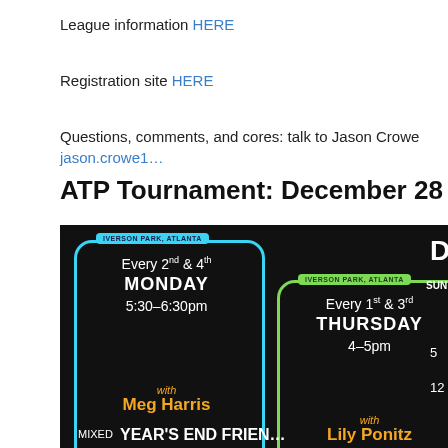League information HERE
Registration site HERE
Questions, comments, and cores: talk to Jason Crowe jason.crowe1...
ATP Tournament: December 28
[Figure (infographic): Chalkboard-style event schedule showing two clinic boxes: one with cyan border for 'Every 2nd & 4th MONDAY 5:30-6:30pm with Meg Harris' at Iverson Park, Atlanta; another with green border for 'Every 1st & 3rd THURSDAY 4-5pm with Lily Ponitz' at Iverson Park, Atlanta. A yellow-bordered box at bottom says 'LOCATION TBD*' and 'MIXED'. A partial December calendar is visible on the right with SUN, MON columns and dates 5, 6, 12, 13.]